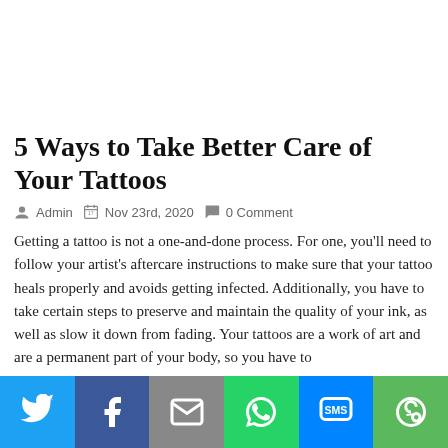5 Ways to Take Better Care of Your Tattoos
Admin  Nov 23rd, 2020  0 Comment
Getting a tattoo is not a one-and-done process. For one, you'll need to follow your artist's aftercare instructions to make sure that your tattoo heals properly and avoids getting infected. Additionally, you have to take certain steps to preserve and maintain the quality of your ink, as well as slow it down from fading. Your tattoos are a work of art and are a permanent part of your body, so you have to do all that you can to keep it looking its best. With that, here's a guide
[Figure (infographic): Social sharing bar with Twitter, Facebook, Email, WhatsApp, SMS, and More buttons]